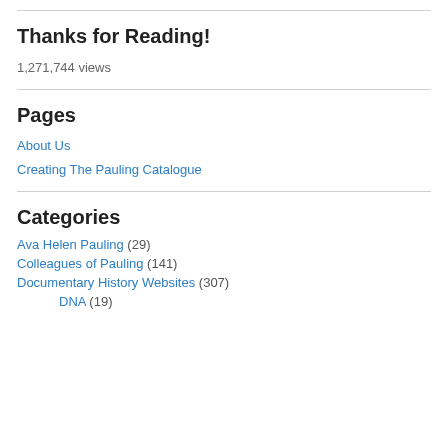Thanks for Reading!
1,271,744 views
Pages
About Us
Creating The Pauling Catalogue
Categories
Ava Helen Pauling (29)
Colleagues of Pauling (141)
Documentary History Websites (307)
DNA (19)